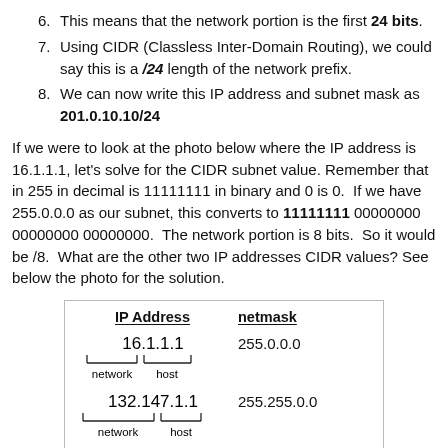6. This means that the network portion is the first 24 bits.
7. Using CIDR (Classless Inter-Domain Routing), we could say this is a /24 length of the network prefix.
8. We can now write this IP address and subnet mask as 201.0.10.10/24
If we were to look at the photo below where the IP address is 16.1.1.1, let's solve for the CIDR subnet value. Remember that in 255 in decimal is 11111111 in binary and 0 is 0.  If we have 255.0.0.0 as our subnet, this converts to 11111111 00000000 00000000 00000000.  The network portion is 8 bits.  So it would be /8.  What are the other two IP addresses CIDR values? See below the photo for the solution.
[Figure (illustration): Table diagram showing IP Address and netmask. Row 1: 16.1.1.1 with bracket showing network and host portions, netmask 255.0.0.0. Row 2: 132.147.1.1 with bracket showing network and host portions, netmask 255.255.0.0. Row 3: 221.138.62.1 with bracket underneath, netmask 255.255.255.0.]